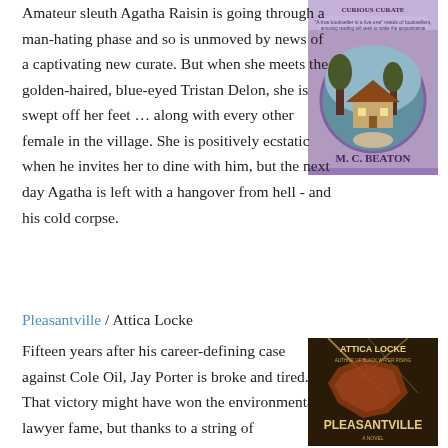Amateur sleuth Agatha Raisin is going through a man-hating phase and so is unmoved by news of a captivating new curate. But when she meets the golden-haired, blue-eyed Tristan Delon, she is swept off her feet … along with every other female in the village. She is positively ecstatic when he invites her to dine with him, but the next day Agatha is left with a hangover from hell - and his cold corpse.
[Figure (illustration): Book cover of 'Curious Curate' by M. C. Beaton with purple background and cottage illustration]
Pleasantville / Attica Locke
Fifteen years after his career-defining case against Cole Oil, Jay Porter is broke and tired. That victory might have won the environmental lawyer fame, but thanks to a string of
[Figure (illustration): Book cover of 'Pleasantville' by Attica Locke with dark background and map imagery]